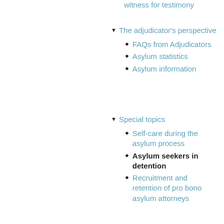witness for testimony
The adjudicator's perspective
FAQs from Adjudicators
Asylum statistics
Asylum information
Special topics
Self-care during the asylum process
Asylum seekers in detention
Recruitment and retention of pro bono asylum attorneys